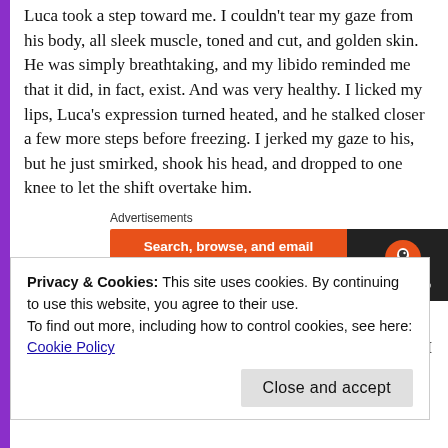Luca took a step toward me. I couldn't tear my gaze from his body, all sleek muscle, toned and cut, and golden skin. He was simply breathtaking, and my libido reminded me that it did, in fact, exist. And was very healthy. I licked my lips, Luca's expression turned heated, and he stalked closer a few more steps before freezing. I jerked my gaze to his, but he just smirked, shook his head, and dropped to one knee to let the shift overtake him.
Advertisements
[Figure (other): DuckDuckGo advertisement banner: orange left panel with text 'Search, browse, and email with more privacy. All in One Free App' and dark right panel with DuckDuckGo duck logo and name.]
Ah well. He was probably right. If he came closer, we'd never get to run in our fur, and we both needed it. Besides, I loved
Privacy & Cookies: This site uses cookies. By continuing to use this website, you agree to their use.
To find out more, including how to control cookies, see here:
Cookie Policy
Close and accept